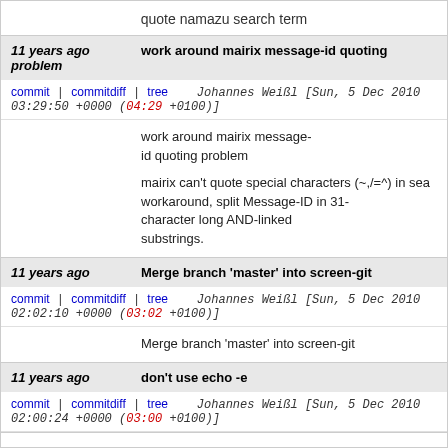quote namazu search term
11 years ago   work around mairix message-id quoting problem
commit | commitdiff | tree   Johannes Weißl [Sun, 5 Dec 2010 03:29:50 +0000 (04:29 +0100)]
work around mairix message-id quoting problem

mairix can't quote special characters (~,/=^) in sea workaround, split Message-ID in 31-character long AND-linked substrings.
11 years ago   Merge branch 'master' into screen-git
commit | commitdiff | tree   Johannes Weißl [Sun, 5 Dec 2010 02:02:10 +0000 (03:02 +0100)]
Merge branch 'master' into screen-git
11 years ago   don't use echo -e
commit | commitdiff | tree   Johannes Weißl [Sun, 5 Dec 2010 02:00:24 +0000 (03:00 +0100)]